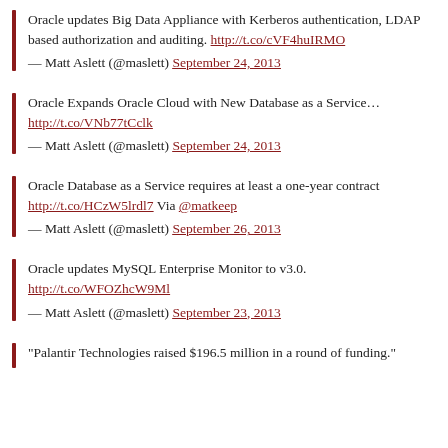Oracle updates Big Data Appliance with Kerberos authentication, LDAP based authorization and auditing. http://t.co/cVF4huIRMO
— Matt Aslett (@maslett) September 24, 2013
Oracle Expands Oracle Cloud with New Database as a Service… http://t.co/VNb77tCclk
— Matt Aslett (@maslett) September 24, 2013
Oracle Database as a Service requires at least a one-year contract http://t.co/HCzW5lrdl7 Via @matkeep
— Matt Aslett (@maslett) September 26, 2013
Oracle updates MySQL Enterprise Monitor to v3.0. http://t.co/WFOZhcW9Ml
— Matt Aslett (@maslett) September 23, 2013
"Palantir Technologies raised $196.5 million in a round of funding."